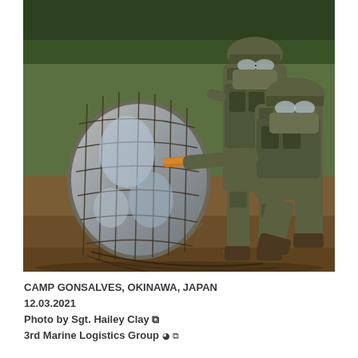[Figure (photo): Two U.S. Marines in camouflage uniforms, helmets, goggles, and face coverings pose outdoors with a large cargo bundle wrapped in netting at Camp Gonsalves, Okinawa, Japan. One Marine is kneeling and holding a wooden-handled tool. Trees are visible in the background.]
CAMP GONSALVES, OKINAWA, JAPAN
12.03.2021
Photo by Sgt. Hailey Clay
3rd Marine Logistics Group